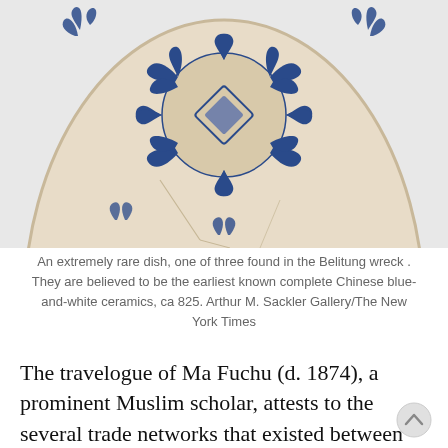[Figure (photo): A close-up photo of an extremely rare Chinese blue-and-white ceramic dish from the Belitung wreck, ca 825. The dish is cream/beige colored with intricate dark blue floral and leaf patterns. The dish shows some cracks and the image is cropped to show the upper portion.]
An extremely rare dish, one of three found in the Belitung wreck . They are believed to be the earliest known complete Chinese blue-and-white ceramics, ca 825. Arthur M. Sackler Gallery/The New York Times
The travelogue of Ma Fuchu (d. 1874), a prominent Muslim scholar, attests to the several trade networks that existed between China and the Islamic regions. In this travelogue, Chaom Jin Tu Ji ('Record of the Pilgrimage Journey') he recounts his journey to Mecca and subsequent travel to Cairo, where he studied at the Al-